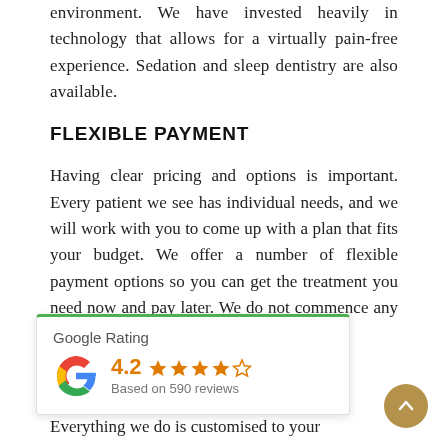environment. We have invested heavily in technology that allows for a virtually pain-free experience. Sedation and sleep dentistry are also available.
FLEXIBLE PAYMENT
Having clear pricing and options is important. Every patient we see has individual needs, and we will work with you to come up with a plan that fits your budget. We offer a number of flexible payment options so you can get the treatment you need now and pay later. We do not commence any treatment until you are totally comfortable
[Figure (other): Google Rating widget showing 4.2 stars based on 590 reviews, with Google G logo in red/yellow/green/blue colors]
Everything we do is customised to your